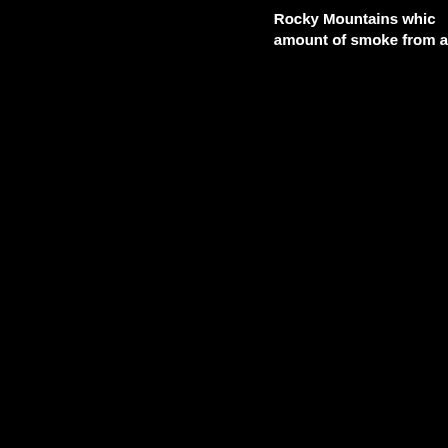Rocky Mountains which amount of smoke from a